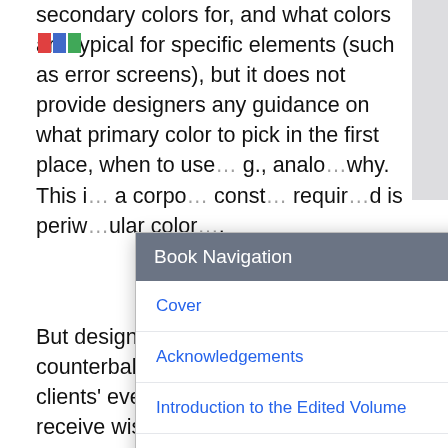secondary colors for, and what colors are typical for specific elements (such as error screens), but it does not provide designers any guidance on what primary color to pick in the first place, when to use… e.g., analo… why. This i… a corpo… const… requir… d is periw… ular color…
[Figure (screenshot): A modal dialog titled 'Book Navigation' with a gray header and close (×) button. The modal lists navigation links: Cover, Acknowledgements, Introduction to the Edited Volume, I. Methods, Paradigms, and Theories of UX Design (partially visible).]
But designers must also often counterbalance their own and their clients' everyday assumptions and receive wisdom about color in order to